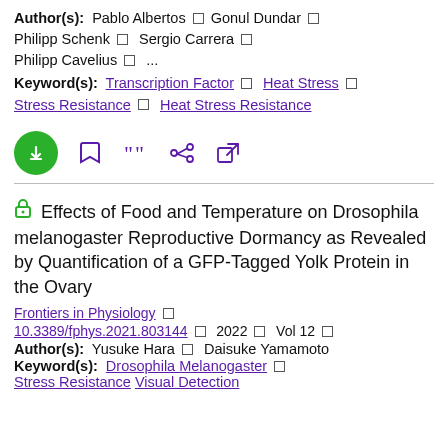Author(s): Pablo Albertos □ Gonul Dundar □ Philipp Schenk □ Sergio Carrera □ Philipp Cavelius □ ...
Keyword(s): Transcription Factor □ Heat Stress □ Stress Resistance □ Heat Stress Resistance
[Figure (other): Action bar with download button (green circle with down arrow), bookmark icon, quote icon, share icon, and external link icon]
Effects of Food and Temperature on Drosophila melanogaster Reproductive Dormancy as Revealed by Quantification of a GFP-Tagged Yolk Protein in the Ovary
Frontiers in Physiology □
10.3389/fphys.2021.803144 □ 2022 □ Vol 12 □
Author(s): Yusuke Hara □ Daisuke Yamamoto
Keyword(s): Drosophila Melanogaster □ Stress Resistance □ Visual Detection